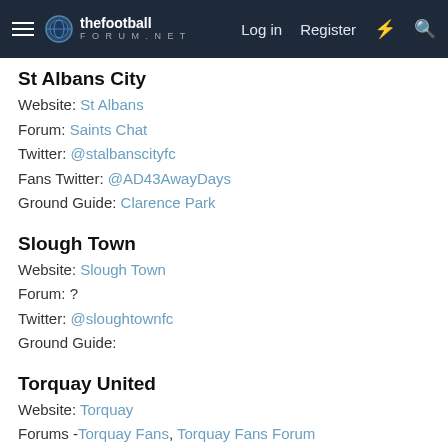thefootballforum.net — Log in | Register
St Albans City
Website: St Albans
Forum: Saints Chat
Twitter: @stalbanscityfc
Fans Twitter: @AD43AwayDays
Ground Guide: Clarence Park
Slough Town
Website: Slough Town
Forum: ?
Twitter: @sloughtownfc
Ground Guide:
Torquay United
Website: Torquay
Forums - Torquay Fans, Torquay Fans Forum
Twitter - @TUFC1899
Ground Guide: